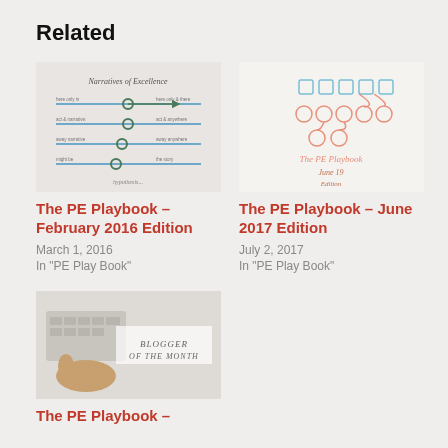Related
[Figure (illustration): Thumbnail image showing a diagram titled 'Narratives of Excellence' with horizontal lines and markers on a white background]
The PE Playbook – February 2016 Edition
March 1, 2016
In "PE Play Book"
[Figure (illustration): Thumbnail image showing a hand-drawn football play diagram on white background with the text 'The PE Playbook June 19 Edition']
The PE Playbook – June 2017 Edition
July 2, 2017
In "PE Play Book"
[Figure (photo): Thumbnail photo showing a hand near a keyboard with text 'BLOGGER OF THE MONTH' overlaid on white background]
The PE Playbook –